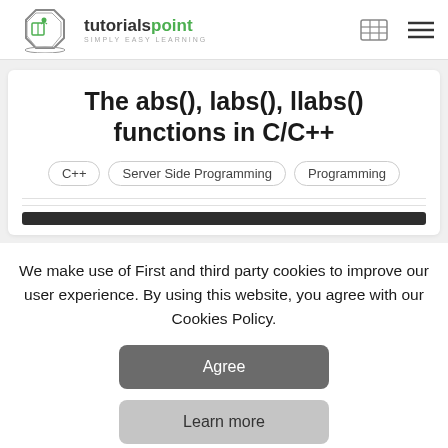tutorialspoint SIMPLY EASY LEARNING
The abs(), labs(), llabs() functions in C/C++
C++
Server Side Programming
Programming
We make use of First and third party cookies to improve our user experience. By using this website, you agree with our Cookies Policy.
Agree
Learn more